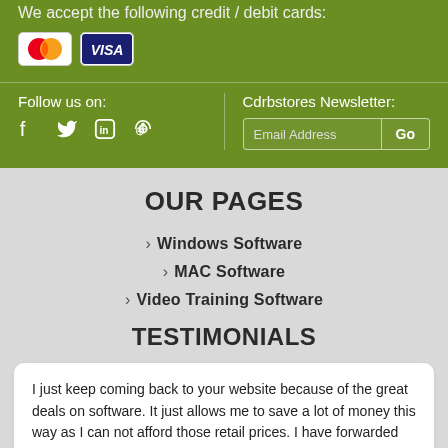We accept the following credit / debit cards:
[Figure (logo): MasterCard and VISA credit card logos]
Follow us on:
[Figure (infographic): Social media icons: Facebook, Twitter, LinkedIn, Pinterest]
Cdrbstores Newsletter:
Email Address Go
OUR PAGES
Windows Software
MAC Software
Video Training Software
TESTIMONIALS
I just keep coming back to your website because of the great deals on software. It just allows me to save a lot of money this way as I can not afford those retail prices. I have forwarded your website to a lot of my friends over the years and many have ordered fro...